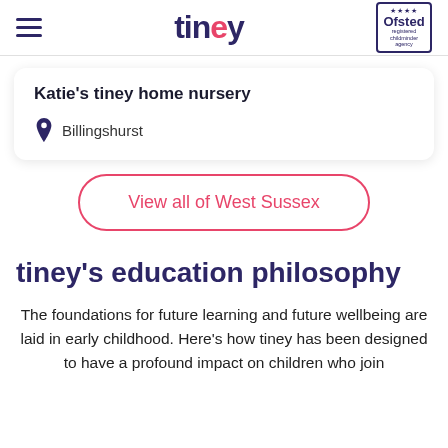tiney — Ofsted registered childminder agency
Katie's tiney home nursery
Billingshurst
View all of West Sussex
tiney's education philosophy
The foundations for future learning and future wellbeing are laid in early childhood. Here's how tiney has been designed to have a profound impact on children who join